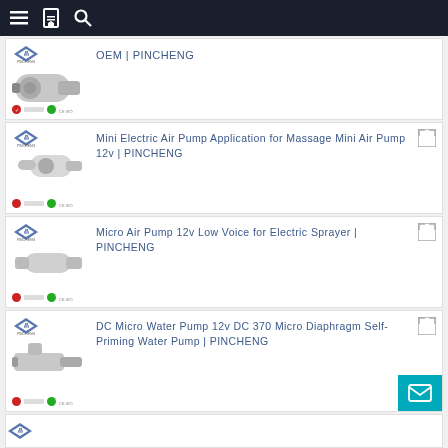Navigation bar with menu, bookmark, and search icons
[Figure (photo): Product card 1: pump image with OEM | PINCHENG title]
OEM | PINCHENG
[Figure (photo): Product card 2: mini electric air pump image]
Mini Electric Air Pump Application for Massage Mini Air Pump 12v | PINCHENG
[Figure (photo): Product card 3: micro air pump image]
Micro Air Pump 12v Low Voice for Electric Sprayer | PINCHENG
[Figure (photo): Product card 4: DC micro water pump image]
DC Micro Water Pump 12v DC 370 Micro Diaphragm Self-Priming Water Pump | PINCHENG